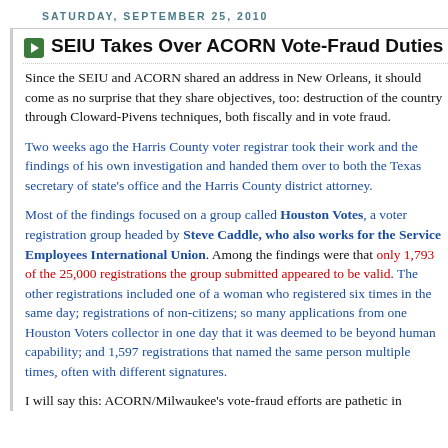SATURDAY, SEPTEMBER 25, 2010
SEIU Takes Over ACORN Vote-Fraud Duties
Since the SEIU and ACORN shared an address in New Orleans, it should come as no surprise that they share objectives, too: destruction of the country through Cloward-Pivens techniques, both fiscally and in vote fraud.
Two weeks ago the Harris County voter registrar took their work and the findings of his own investigation and handed them over to both the Texas secretary of state's office and the Harris County district attorney.
Most of the findings focused on a group called Houston Votes, a voter registration group headed by Steve Caddle, who also works for the Service Employees International Union. Among the findings were that only 1,793 of the 25,000 registrations the group submitted appeared to be valid. The other registrations included one of a woman who registered six times in the same day; registrations of non-citizens; so many applications from one Houston Voters collector in one day that it was deemed to be beyond human capability; and 1,597 registrations that named the same person multiple times, often with different signatures.
I will say this: ACORN/Milwaukee's vote-fraud efforts are pathetic in